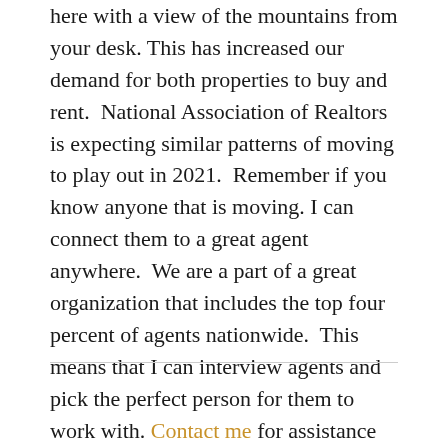here with a view of the mountains from your desk. This has increased our demand for both properties to buy and rent.  National Association of Realtors is expecting similar patterns of moving to play out in 2021.  Remember if you know anyone that is moving. I can connect them to a great agent anywhere.  We are a part of a great organization that includes the top four percent of agents nationwide.  This means that I can interview agents and pick the perfect person for them to work with. Contact me for assistance today.